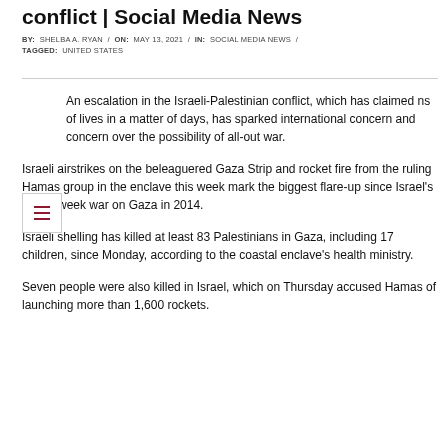conflict | Social Media News
BY: SHELBA A. RYAN / ON: MAY 13, 2021 / IN: SOCIAL MEDIA NEWS / TAGGED: UNITED STATES
An escalation in the Israeli-Palestinian conflict, which has claimed ns of lives in a matter of days, has sparked international concern and concern over the possibility of all-out war.
Israeli airstrikes on the beleaguered Gaza Strip and rocket fire from the ruling Hamas group in the enclave this week mark the biggest flare-up since Israel's seven-week war on Gaza in 2014.
Israeli shelling has killed at least 83 Palestinians in Gaza, including 17 children, since Monday, according to the coastal enclave's health ministry.
Seven people were also killed in Israel, which on Thursday accused Hamas of launching more than 1,600 rockets.